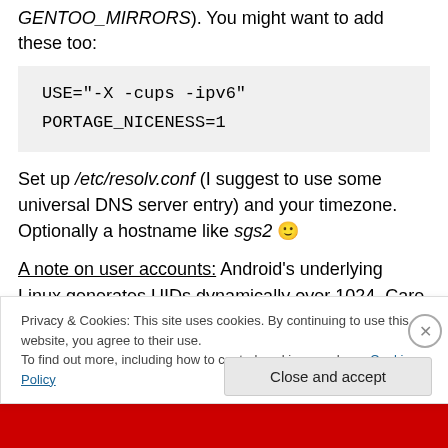GENTOO_MIRRORS). You might want to add these too:
USE="-X -cups -ipv6"
PORTAGE_NICENESS=1
Set up /etc/resolv.conf (I suggest to use some universal DNS server entry) and your timezone. Optionally a hostname like sgs2 🙂
A note on user accounts: Android's underlying Linux generates UIDs dynamically over 1024. Care must be taken with these UIDs and for sure apps will run their own...
Privacy & Cookies: This site uses cookies. By continuing to use this website, you agree to their use.
To find out more, including how to control cookies, see here: Cookie Policy
Close and accept